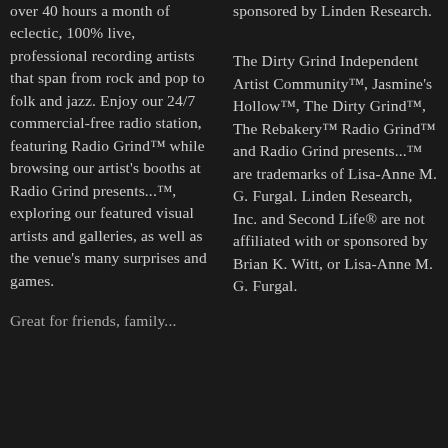over 40 hours a month of eclectic, 100% live, professional recording artists that span from rock and pop to folk and jazz. Enjoy our 24/7 commercial-free radio station, featuring Radio Grind™ while browsing our artist's booths at Radio Grind presents...™, exploring our featured visual artists and galleries, as well as the venue's many surprises and games.
Great for friends, family...
sponsored by Linden Research.
The Dirty Grind Independent Artist Community™, Jasmine's Hollow™, The Dirty Grind™, The Rebakery™ Radio Grind™ and Radio Grind presents...™ are trademarks of Lisa-Anne M. G. Furgal. Linden Research, Inc. and Second Life® are not affiliated with or sponsored by Brian K. Witt, or Lisa-Anne M. G. Furgal.